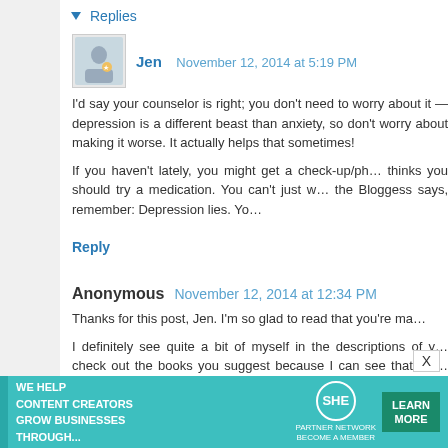Replies
Jen  November 12, 2014 at 5:19 PM
I'd say your counselor is right; you don't need to worry about it — depression is a different beast than anxiety, so don't worry about making it worse. It actually helps that sometimes!

If you haven't lately, you might get a check-up/physica — and if your doctor thinks you should try a medication. You can't just will it away. And as the Bloggess says, remember: Depression lies. Yo
Reply
Anonymous  November 12, 2014 at 12:34 PM
Thanks for this post, Jen. I'm so glad to read that you're ma
I definitely see quite a bit of myself in the descriptions of y... check out the books you suggest because I can see that I'm... the world confidently and find peace and happiness with wh
Wishing you much love and continued success,
KW
[Figure (infographic): SHE Media advertisement banner: 'We help content creators grow businesses through... SHE Partner Network Become a Member. Learn More.']